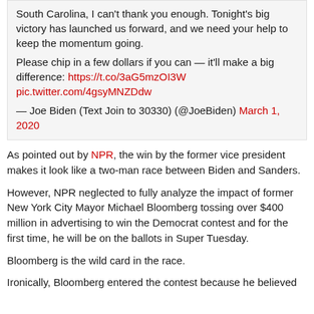South Carolina, I can't thank you enough. Tonight's big victory has launched us forward, and we need your help to keep the momentum going.

Please chip in a few dollars if you can — it'll make a big difference: https://t.co/3aG5mzOI3W pic.twitter.com/4gsyMNZDdw

— Joe Biden (Text Join to 30330) (@JoeBiden) March 1, 2020
As pointed out by NPR, the win by the former vice president makes it look like a two-man race between Biden and Sanders.
However, NPR neglected to fully analyze the impact of former New York City Mayor Michael Bloomberg tossing over $400 million in advertising to win the Democrat contest and for the first time, he will be on the ballots in Super Tuesday.
Bloomberg is the wild card in the race.
Ironically, Bloomberg entered the contest because he believed